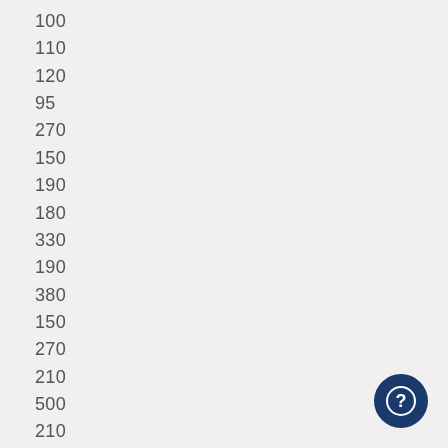100
110
120
95
270
150
190
180
330
190
380
150
270
210
500
210
210
290
210
160
240
270
180
230